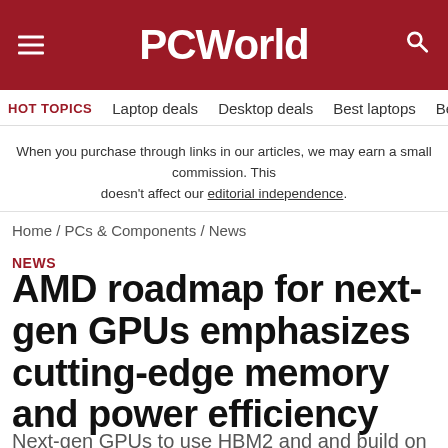PCWorld
HOT TOPICS   Laptop deals   Desktop deals   Best laptops   Best ch
When you purchase through links in our articles, we may earn a small commission. This doesn't affect our editorial independence.
Home / PCs & Components / News
NEWS
AMD roadmap for next-gen GPUs emphasizes cutting-edge memory and power efficiency
Next-gen GPUs to use HBM2 and and build on